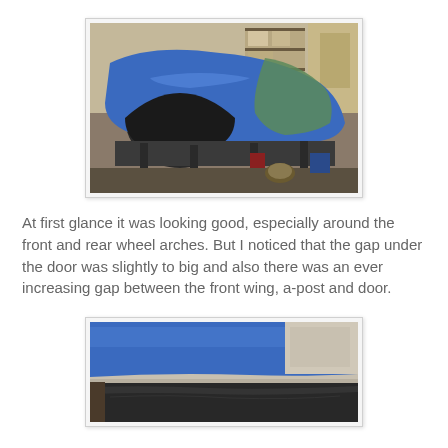[Figure (photo): A blue car fender/front wing panel being worked on in a garage workshop setting. The panel shows the wheel arch area, with green filler/primer visible on part of it. Workshop equipment and shelving visible in background.]
At first glance it was looking good, especially around the front and rear wheel arches. But I noticed that the gap under the door was slightly to big and also there was an ever increasing gap between the front wing, a-post and door.
[Figure (photo): Close-up photo of a blue car panel (front wing/door area) showing the gap/edge detail between panels. The blue painted surface contrasts with a dark lower section, showing the alignment gap being assessed.]